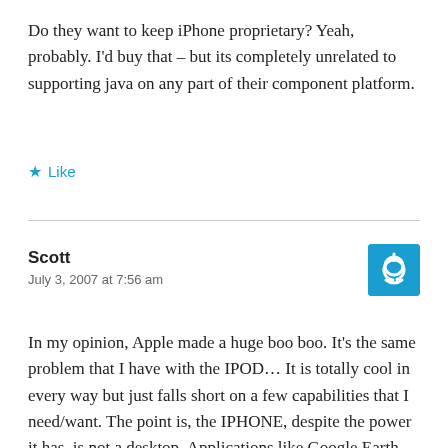Do they want to keep iPhone proprietary? Yeah, probably. I'd buy that – but its completely unrelated to supporting java on any part of their component platform.
★ Like
Scott
July 3, 2007 at 7:56 am
In my opinion, Apple made a huge boo boo. It's the same problem that I have with the IPOD… It is totally cool in every way but just falls short on a few capabilities that I need/want. The point is, the IPHONE, despite the power it has, is not a desktop. Applications like Google Earth mobile and 3rd party GPS systems are all written in Java. Tons of mobile games (something the iphone lacks) are